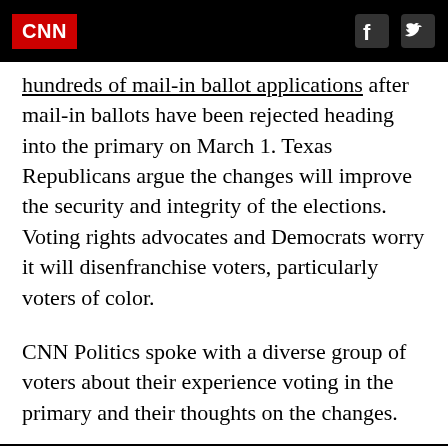CNN
hundreds of mail-in ballot applications after mail-in ballots have been rejected heading into the primary on March 1. Texas Republicans argue the changes will improve the security and integrity of the elections. Voting rights advocates and Democrats worry it will disenfranchise voters, particularly voters of color.
CNN Politics spoke with a diverse group of voters about their experience voting in the primary and their thoughts on the changes.
John Perry Jr.  FRESNO, TEXAS
[Figure (photo): Photo of John Perry Jr. from Fresno, Texas]